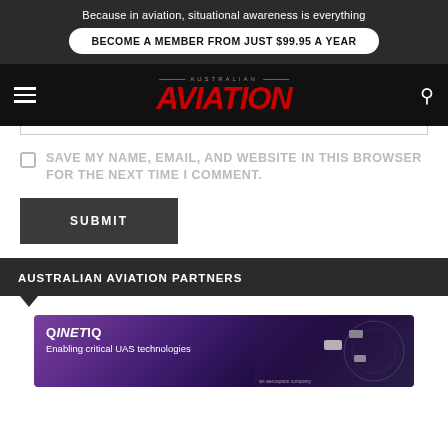Because in aviation, situational awareness is everything
BECOME A MEMBER FROM JUST $99.95 A YEAR
[Figure (logo): Australian Aviation magazine logo with red italic AVIATION text and AUSTRALIAN above in grey with decorative lines]
SAVE MY NAME, EMAIL, AND WEBSITE IN THIS BROWSER FOR THE NEXT TIME I COMMENT.
SUBMIT
AUSTRALIAN AVIATION PARTNERS
[Figure (screenshot): QinetiQ advertisement banner with purple/dark background. Text: QinetiQ - Enabling critical UAS technologies. Drone imagery on the right side.]